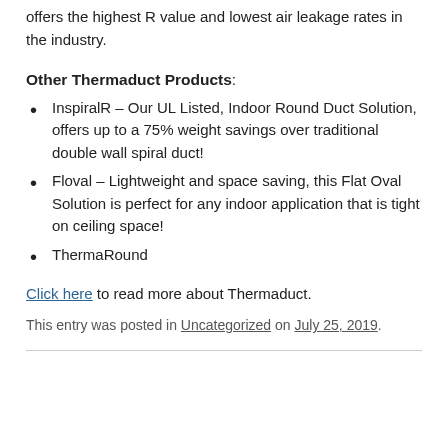offers the highest R value and lowest air leakage rates in the industry.
Other Thermaduct Products:
InspiralR – Our UL Listed, Indoor Round Duct Solution, offers up to a 75% weight savings over traditional double wall spiral duct!
Floval – Lightweight and space saving, this Flat Oval Solution is perfect for any indoor application that is tight on ceiling space!
ThermaRound
Click here to read more about Thermaduct.
This entry was posted in Uncategorized on July 25, 2019.